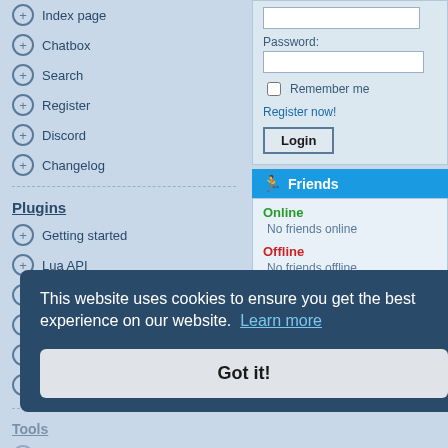Index page
Chatbox
Search
Register
Discord
Changelog
Plugins
Getting started
Lua API
Store
Your plugins
Upload plugin
Forum Showcase
Password:
Remember me
Register now!
Login
Friends
Online
No friends online
Offline
No friends offline
Tools
Code Validator
Help
TheoTown FAQ
Forum FAQ
BBCode FAQ
This website uses cookies to ensure you get the best experience on our website. Learn more
Got it!